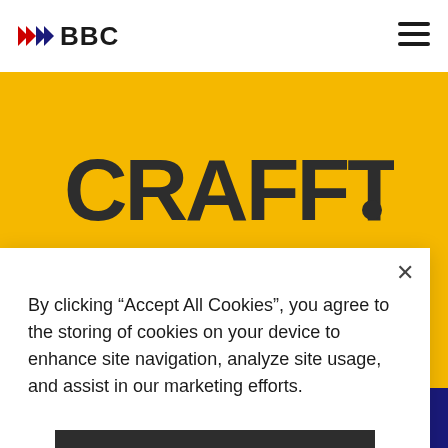BBC
[Figure (logo): CRAFFT logo in bold dark text on yellow background with a small dot]
By clicking “Accept All Cookies”, you agree to the storing of cookies on your device to enhance site navigation, analyze site usage, and assist in our marketing efforts.
Accept Cookies
Cookies Settings